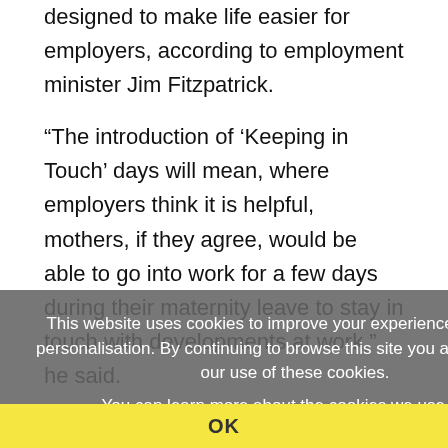designed to make life easier for employers, according to employment minister Jim Fitzpatrick.
“The introduction of ‘Keeping in Touch’ days will mean, where employers think it is helpful, mothers, if they agree, would be able to go into work for a few days during their maternity leave to stay in touch with developments at work,” he said.
“This would only be where employers and the mother find the arrangement acceptable, but generally this should help ensure mothers have a smooth return to work when their leave ends.”
The new arrangements will benefit employers by helping them plan ahead and manage maternity leave with greater certainty, Fitzpatrick said.
This website uses cookies to improve your experience and for ads personalisation. By continuing to browse this site you are agreeing to our use of these cookies. You can learn more about the cookies we use here.